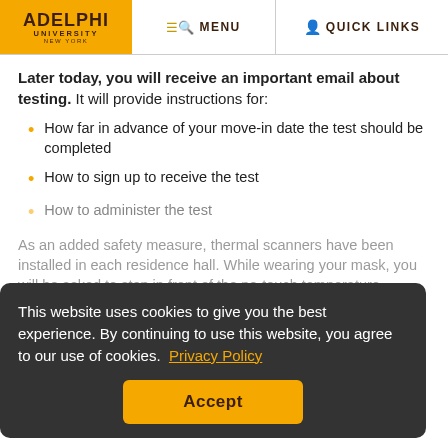ADELPHI UNIVERSITY NEW YORK | MENU | QUICK LINKS
Later today, you will receive an important email about testing. It will provide instructions for:
How far in advance of your move-in date the test should be completed
How to sign up to receive the test
How to administer the test
As an added safety measure, thermal scanners have been installed in each residence hall. While wearing your mask, you will be asked to step in front of the no-touch temperature scanning tablet
This website uses cookies to give you the best experience. By continuing to use this website, you agree to our use of cookies. Privacy Policy